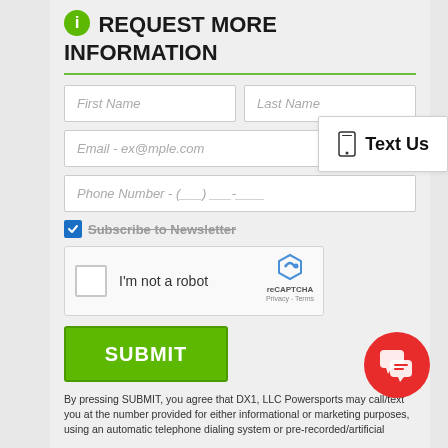REQUEST MORE INFORMATION
[Figure (screenshot): Web form with fields for First Name, Last Name, Email, Phone Number, Subscribe to Newsletter checkbox, reCAPTCHA widget, and SUBMIT button]
By pressing SUBMIT, you agree that DX1, LLC Powersports may call/text you at the number provided for either informational or marketing purposes, using an automatic telephone dialing system or pre-recorded/artificial
Text Us